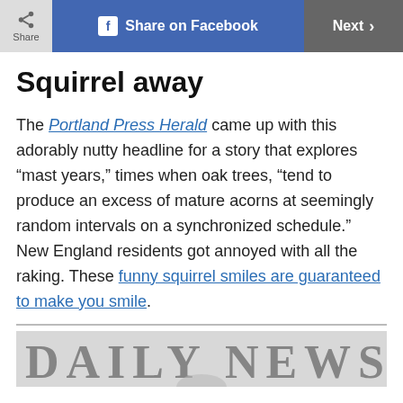Share | Share on Facebook | Next
Squirrel away
The Portland Press Herald came up with this adorably nutty headline for a story that explores “mast years,” times when oak trees, “tend to produce an excess of mature acorns at seemingly random intervals on a synchronized schedule.” New England residents got annoyed with all the raking. These funny squirrel smiles are guaranteed to make you smile.
[Figure (photo): Partial view of a newspaper masthead reading DAILY NEWS with a circular image below]